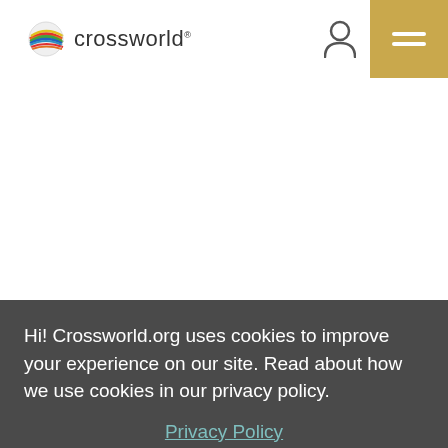crossworld
Hi! Crossworld.org uses cookies to improve your experience on our site. Read about how we use cookies in our privacy policy.
Privacy Policy